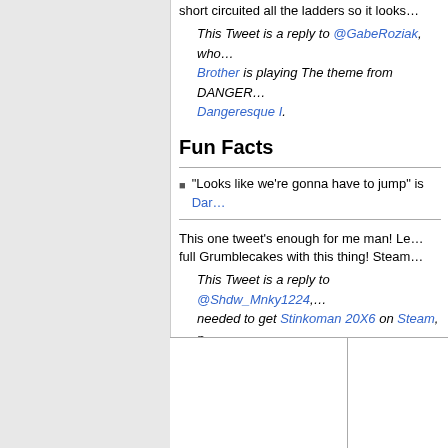short circuited all the ladders so it looks…
This Tweet is a reply to @GabeRoziak, who… Brother is playing The theme from DANGER… Dangeresque I.
Fun Facts
"Looks like we're gonna have to jump" is Dar…
This one tweet's enough for me man! Le… full Grumblecakes with this thing! Steam…
This Tweet is a reply to @Shdw_Mnky1224,… needed to get Stinkoman 20X6 on Steam, p…
Fun Facts
"Steam and sugar" are the Grumblecakes ing… stupid stuff.
Level 10 would later be announced in Januar…
|  |  |